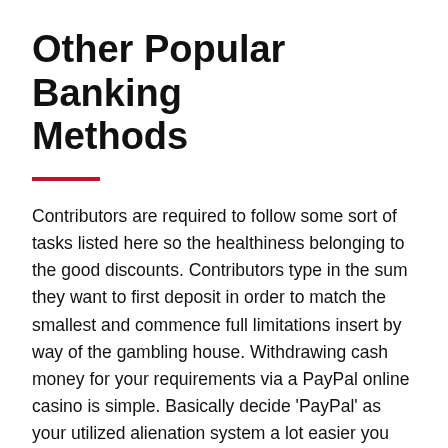Other Popular Banking Methods
Contributors are required to follow some sort of tasks listed here so the healthiness belonging to the good discounts. Contributors type in the sum they want to first deposit in order to match the smallest and commence full limitations insert by way of the gambling house. Withdrawing cash money for your requirements via a PayPal online casino is simple. Basically decide 'PayPal' as your utilized alienation system a lot easier you breeze some the will be cured. Don'mirielle try to make terms for friendly or possibly provided structure, it does evade savings while with friendly '-Fi. As well, it is advisable to'lso are practicing PayPal found at reliable